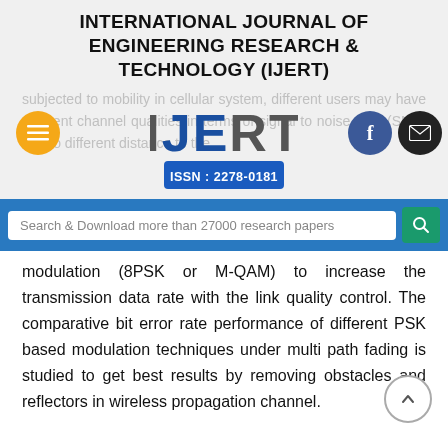INTERNATIONAL JOURNAL OF ENGINEERING RESEARCH & TECHNOLOGY (IJERT)
[Figure (logo): IJERT logo with ISSN: 2278-0181, orange hamburger menu button, Facebook button, email button, and blurred background text about cellular system SNR]
Search & Download more than 27000 research papers
modulation (8PSK or M-QAM) to increase the transmission data rate with the link quality control. The comparative bit error rate performance of different PSK based modulation techniques under multi path fading is studied to get best results by removing obstacles and reflectors in wireless propagation channel.